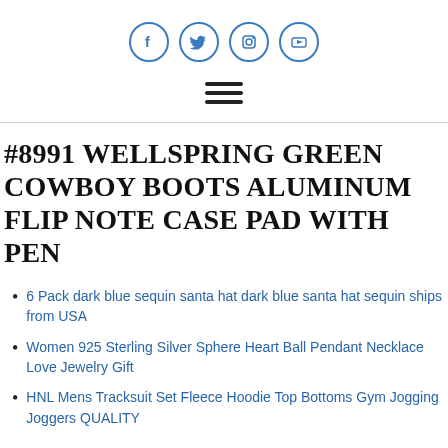[Figure (other): Social media icons: Facebook, Twitter, Instagram, YouTube — each in a blue circle outline]
[Figure (other): Hamburger menu icon (three horizontal lines)]
#8991 WELLSPRING GREEN COWBOY BOOTS ALUMINUM FLIP NOTE CASE PAD WITH PEN
6 Pack dark blue sequin santa hat dark blue santa hat sequin ships from USA
Women 925 Sterling Silver Sphere Heart Ball Pendant Necklace Love Jewelry Gift
HNL Mens Tracksuit Set Fleece Hoodie Top Bottoms Gym Jogging Joggers QUALITY